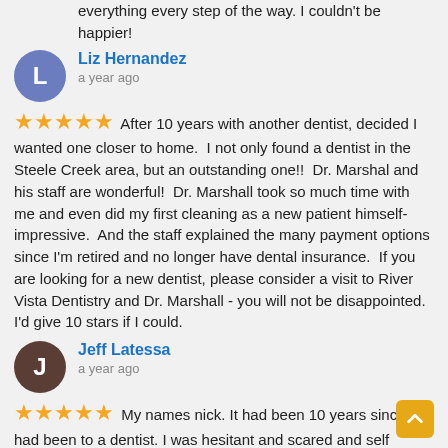everything every step of the way. I couldn't be happier!
Liz Hernandez
a year ago
★★★★★ After 10 years with another dentist, decided I wanted one closer to home. I not only found a dentist in the Steele Creek area, but an outstanding one!! Dr. Marshal and his staff are wonderful! Dr. Marshall took so much time with me and even did my first cleaning as a new patient himself-impressive. And the staff explained the many payment options since I'm retired and no longer have dental insurance. If you are looking for a new dentist, please consider a visit to River Vista Dentistry and Dr. Marshall - you will not be disappointed. I'd give 10 stars if I could.
Jeff Latessa
a year ago
★★★★★ My names nick. It had been 10 years since I had been to a dentist. I was hesitant and scared and self conscious. My awesome neighbor Nikki works here and recommended I give them a chance. They were so gentile and cautious with me. They knew I had a